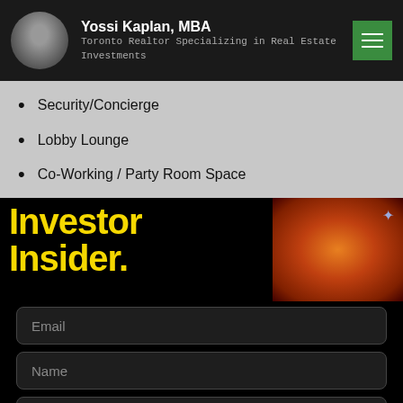Yossi Kaplan, MBA — Toronto Realtor Specializing in Real Estate Investments
Security/Concierge
Lobby Lounge
Co-Working / Party Room Space
Rooftop Deck
[Figure (illustration): Yellow bold text reading 'Investor Insider.' on black background with a man's face against orange fire background on the right]
Email
Name
Mobile
GET INFO >